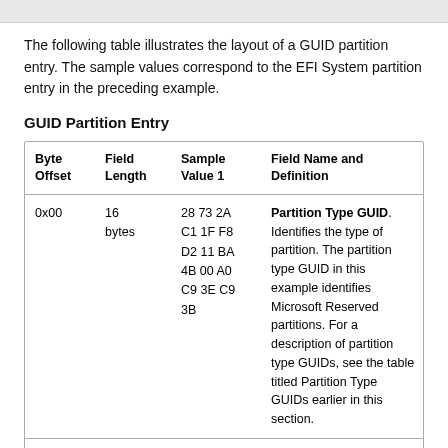The following table illustrates the layout of a GUID partition entry. The sample values correspond to the EFI System partition entry in the preceding example.
GUID Partition Entry
| Byte Offset | Field Length | Sample Value1 | Field Name and Definition |
| --- | --- | --- | --- |
| 0x00 | 16 bytes | 28 73 2A
C1 1F F8
D2 11 BA
4B 00 A0
C9 3E C9
3B | Partition Type GUID. Identifies the type of partition. The partition type GUID in this example identifies Microsoft Reserved partitions. For a description of partition type GUIDs, see the table titled Partition Type GUIDs earlier in this section. |